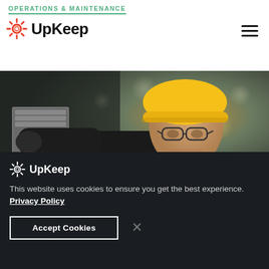OPERATIONS & MAINTENANCE
[Figure (logo): UpKeep gear logo with text UpKeep in black]
[Figure (photo): A maintenance worker wearing a yellow hard hat, safety glasses, and black jacket working in an industrial facility, smiling as he handles equipment]
[Figure (logo): UpKeep gear logo with text UpKeep in white on dark background]
This website uses cookies to ensure you get the best experience. Privacy Policy
Accept Cookies